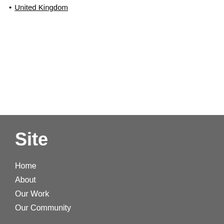United Kingdom
Site
Home
About
Our Work
Our Community